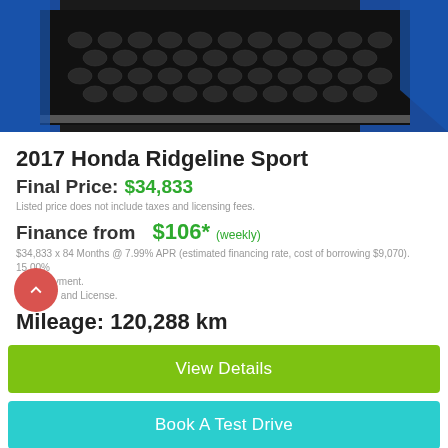[Figure (photo): Close-up photo of a blue Honda Ridgeline Sport front grille and hood]
2017 Honda Ridgeline Sport
Final Price: $34,833
Listed price does not include taxes and licensing fees.
Finance from $106* (weekly)
$34,833 x 84 Months @ 7.99% APR (estimated financing rate, cost of borrowing $9,070). 15.00% down payment.
Plus HST and License.
Mileage: 120,288 km
View Details
Book A Test Drive
What is Market Value Price?
Buy from Home? Chat Now